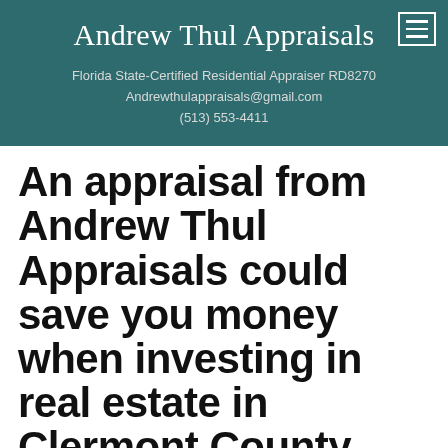Andrew Thul Appraisals
Florida State-Certified Residential Appraiser RD8270
Andrewthulappraisals@gmail.com
(513) 553-4411
An appraisal from Andrew Thul Appraisals could save you money when investing in real estate in Clermont County
An appraisal from Andrew Thul Appraisals will...